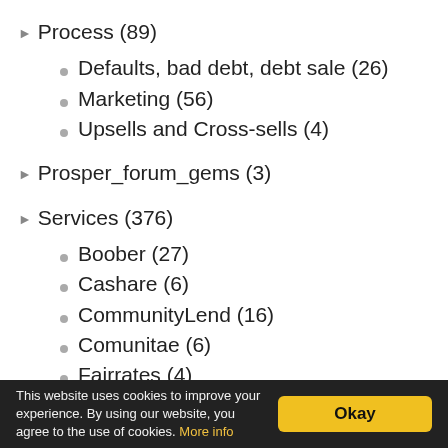Process (89)
Defaults, bad debt, debt sale (26)
Marketing (56)
Upsells and Cross-sells (4)
Prosper_forum_gems (3)
Services (376)
Boober (27)
Cashare (6)
CommunityLend (16)
Comunitae (6)
Fairrates (4)
Fynanz (3)
Globefunder (11)
Greennote (2)
IOU Central (7)
This website uses cookies to improve your experience. By using our website, you agree to the use of cookies. More info